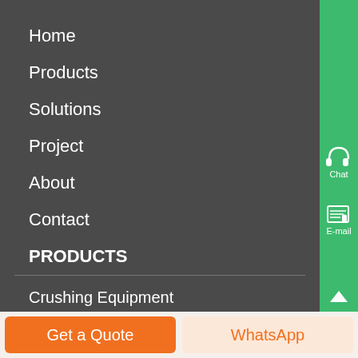Home
Products
Solutions
Project
About
Contact
PRODUCTS
Crushing Equipment
[Figure (other): Green sidebar with headphone/Chat icon and email/E-mail icon and up-arrow]
Get a Quote
WhatsApp